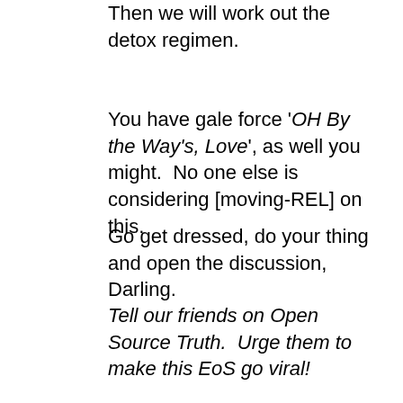Then we will work out the detox regimen.
You have gale force 'OH By the Way's, Love', as well you might.  No one else is considering [moving-REL] on this.
Go get dressed, do your thing and open the discussion, Darling.
Tell our friends on Open Source Truth.  Urge them to make this EoS go viral!
————-
Action Steps: